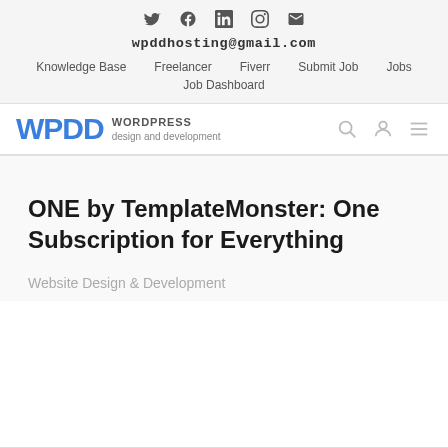[Figure (other): Social media icons row: Twitter, Facebook, LinkedIn, Instagram, Email]
wpddhosting@gmail.com
Knowledge Base   Freelancer   Fiverr   Submit Job   Jobs   Job Dashboard
[Figure (logo): WPDD WordPress design and development logo with search, user, and menu icons]
ONE by TemplateMonster: One Subscription for Everything
Website Design & Development